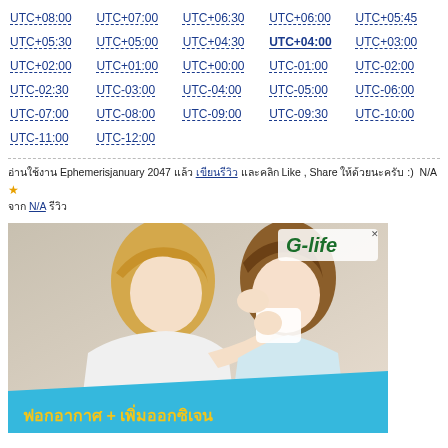UTC+08:00 UTC+07:00 UTC+06:30 UTC+06:00 UTC+05:45 UTC+05:30 UTC+05:00 UTC+04:30 UTC+04:00 UTC+03:00 UTC+02:00 UTC+01:00 UTC+00:00 UTC-01:00 UTC-02:00 UTC-02:30 UTC-03:00 UTC-04:00 UTC-05:00 UTC-06:00 UTC-07:00 UTC-08:00 UTC-09:00 UTC-09:30 UTC-10:00 UTC-11:00 UTC-12:00
อ่านใช้งาน Ephemerisjanuary 2047 แล้ว เขียนรีวิว และคลิก Like , Share ให้ด้วยนะครับ :)  N/A ★ จาก N/A รีวิว
[Figure (photo): Advertisement image showing a woman helping a child blow their nose, with G-life logo in top right corner and Thai text 'ฟอกอากาศ + เพิ่มออกซิเจน' on a blue banner at bottom]